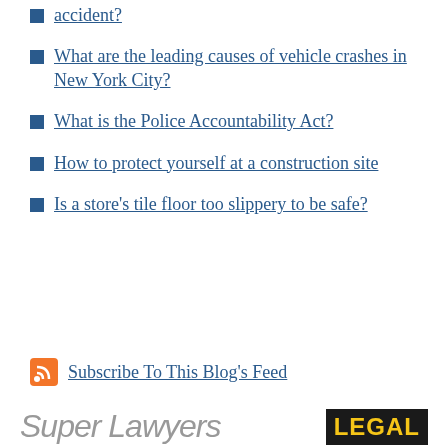accident?
What are the leading causes of vehicle crashes in New York City?
What is the Police Accountability Act?
How to protect yourself at a construction site
Is a store's tile floor too slippery to be safe?
Subscribe To This Blog's Feed
[Figure (logo): Super Lawyers logo (grey italic text)]
[Figure (logo): LEGAL badge with yellow text on dark background]